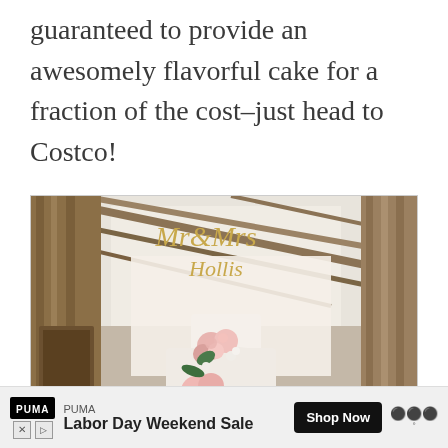guaranteed to provide an awesomely flavorful cake for a fraction of the cost–just head to Costco!
[Figure (photo): A multi-tiered white wedding cake decorated with pink roses and green foliage, topped with a decorative gold cake topper, set in a rustic barn venue with wooden beams in the background.]
PUMA Labor Day Weekend Sale Shop Now